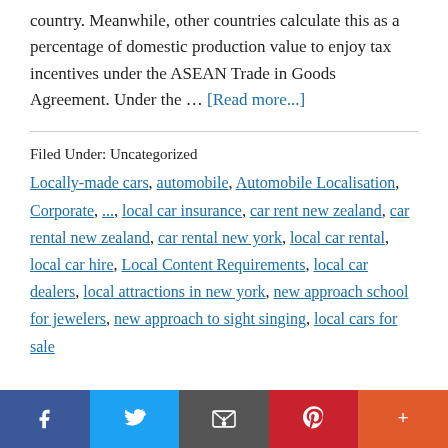country. Meanwhile, other countries calculate this as a percentage of domestic production value to enjoy tax incentives under the ASEAN Trade in Goods Agreement. Under the … [Read more...]
Filed Under: Uncategorized
Locally-made cars, automobile, Automobile Localisation, Corporate, ..., local car insurance, car rent new zealand, car rental new zealand, car rental new york, local car rental, local car hire, Local Content Requirements, local car dealers, local attractions in new york, new approach school for jewelers, new approach to sight singing, local cars for sale
Social share buttons: Facebook, Twitter, Email, Pinterest, More